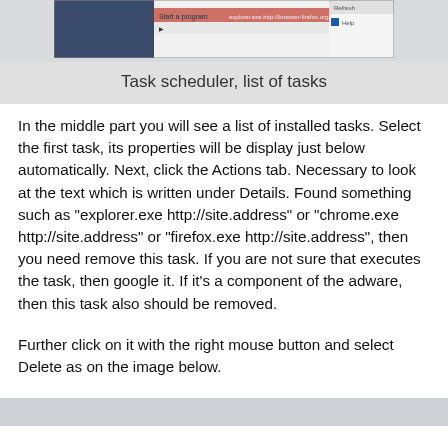[Figure (screenshot): Screenshot of Windows Task Scheduler showing a list of tasks with program details]
Task scheduler, list of tasks
In the middle part you will see a list of installed tasks. Select the first task, its properties will be display just below automatically. Next, click the Actions tab. Necessary to look at the text which is written under Details. Found something such as "explorer.exe http://site.address" or "chrome.exe http://site.address" or "firefox.exe http://site.address", then you need remove this task. If you are not sure that executes the task, then google it. If it's a component of the adware, then this task also should be removed.
Further click on it with the right mouse button and select Delete as on the image below.
[Figure (screenshot): Screenshot showing right-click context menu with Delete option]